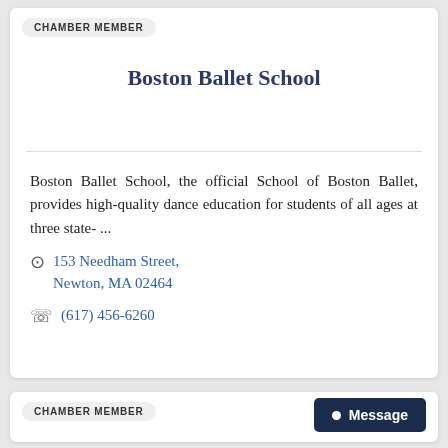CHAMBER MEMBER
Boston Ballet School
Boston Ballet School, the official School of Boston Ballet, provides high-quality dance education for students of all ages at three state- ...
153 Needham Street, Newton, MA 02464
(617) 456-6260
CHAMBER MEMBER